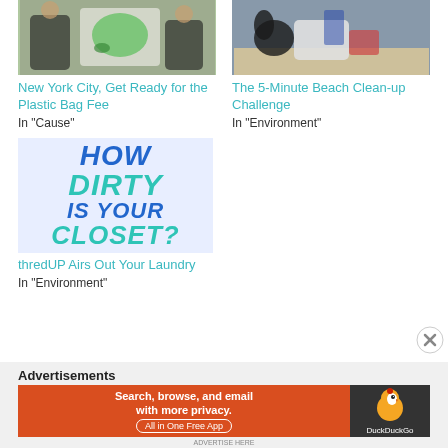[Figure (photo): Photo of person printing green elephant design on a white tote bag]
New York City, Get Ready for the Plastic Bag Fee
In "Cause"
[Figure (photo): Photo of plastic debris and trash on a beach]
The 5-Minute Beach Clean-up Challenge
In "Environment"
[Figure (illustration): Graphic image with bold text reading HOW DIRTY IS YOUR CLOSET? in teal and blue on light blue background]
thredUP Airs Out Your Laundry
In "Environment"
Advertisements
[Figure (screenshot): DuckDuckGo advertisement banner: Search, browse, and email with more privacy. All in One Free App. DuckDuckGo logo on dark background.]